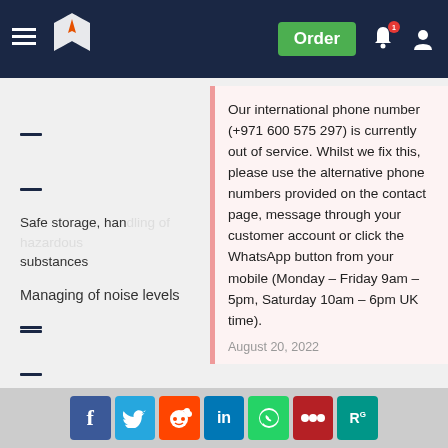Navigation header with logo, Order button, notification bell, and user icon
Our international phone number (+971 600 575 297) is currently out of service. Whilst we fix this, please use the alternative phone numbers provided on the contact page, message through your customer account or click the WhatsApp button from your mobile (Monday – Friday 9am – 5pm, Saturday 10am – 6pm UK time).
August 20, 2022
Safe storage, hand[ling of hazardous] substances
Managing of noise levels
Social share bar: Facebook, Twitter, Reddit, LinkedIn, WhatsApp, Mendeley, ResearchGate